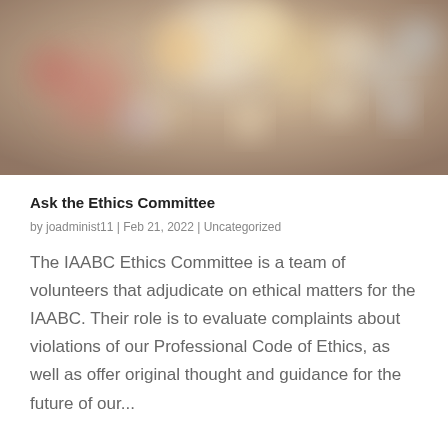[Figure (photo): Blurred bokeh photograph showing out-of-focus lights and light bulb shapes in warm orange, red, yellow, and cool teal tones against a dark background]
Ask the Ethics Committee
by joadminist11 | Feb 21, 2022 | Uncategorized
The IAABC Ethics Committee is a team of volunteers that adjudicate on ethical matters for the IAABC. Their role is to evaluate complaints about violations of our Professional Code of Ethics, as well as offer original thought and guidance for the future of our...